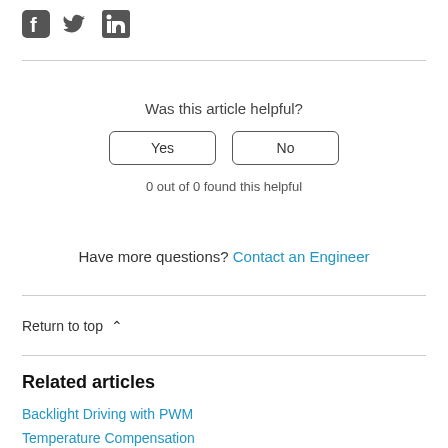[Figure (other): Social media sharing icons: Facebook, Twitter, LinkedIn]
Was this article helpful?
Yes   No
0 out of 0 found this helpful
Have more questions? Contact an Engineer
Return to top ∧
Related articles
Backlight Driving with PWM
Temperature Compensation